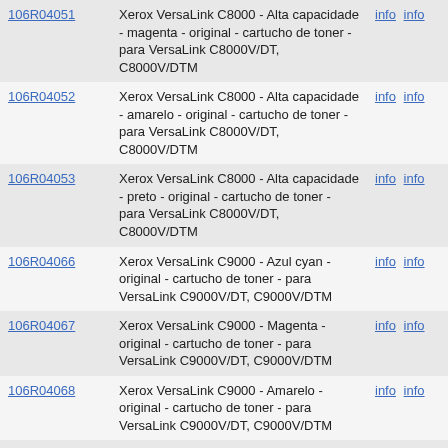| ID | Description | Links |
| --- | --- | --- |
| 106R04051 | Xerox VersaLink C8000 - Alta capacidade - magenta - original - cartucho de toner - para VersaLink C8000V/DT, C8000V/DTM | info info |
| 106R04052 | Xerox VersaLink C8000 - Alta capacidade - amarelo - original - cartucho de toner - para VersaLink C8000V/DT, C8000V/DTM | info info |
| 106R04053 | Xerox VersaLink C8000 - Alta capacidade - preto - original - cartucho de toner - para VersaLink C8000V/DT, C8000V/DTM | info info |
| 106R04066 | Xerox VersaLink C9000 - Azul cyan - original - cartucho de toner - para VersaLink C9000V/DT, C9000V/DTM | info info |
| 106R04067 | Xerox VersaLink C9000 - Magenta - original - cartucho de toner - para VersaLink C9000V/DT, C9000V/DTM | info info |
| 106R04068 | Xerox VersaLink C9000 - Amarelo - original - cartucho de toner - para VersaLink C9000V/DT, C9000V/DTM | info info |
| 106R04069 | Xerox VersaLink C9000 - Preto - original - cartucho de toner - para VersaLink C9000V/DT, C9000V/DTM | info info |
| 106R04078 | Xerox VersaLink C9000 - Alta capacidade - azul cyan - original - cartucho de toner - para VersaLink C9000V/DT, C9000V/DTM | info info |
| 106R04079 | Xerox VersaLink C9000 - Alta capacidade - magenta - original - cartucho de toner - para VersaLink C9000V/DT, C9000V/DTM | info info |
| 106R04080 | Xerox VersaLink C9000 - Alta capacidade - amarelo - original - cartucho de toner - para VersaLink C9000V/DT, C9000V/DTM | info info |
| 106R04081 | Xerox VersaLink C9000 - Alta capacidade - preto - original - cartucho de toner - para VersaLink C9000V/DT, C9000V/DTM | info info |
| 106R04346 | Xerox B215 - Preto - original - cartucho de toner - para | info info |